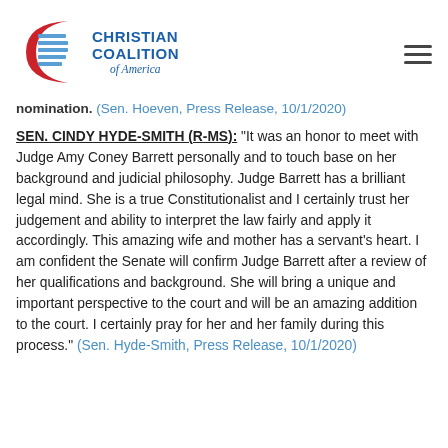Christian Coalition of America
nomination. (Sen. Hoeven, Press Release, 10/1/2020)
SEN. CINDY HYDE-SMITH (R-MS): "It was an honor to meet with Judge Amy Coney Barrett personally and to touch base on her background and judicial philosophy. Judge Barrett has a brilliant legal mind. She is a true Constitutionalist and I certainly trust her judgement and ability to interpret the law fairly and apply it accordingly. This amazing wife and mother has a servant’s heart. I am confident the Senate will confirm Judge Barrett after a review of her qualifications and background. She will bring a unique and important perspective to the court and will be an amazing addition to the court. I certainly pray for her and her family during this process." (Sen. Hyde-Smith, Press Release, 10/1/2020)